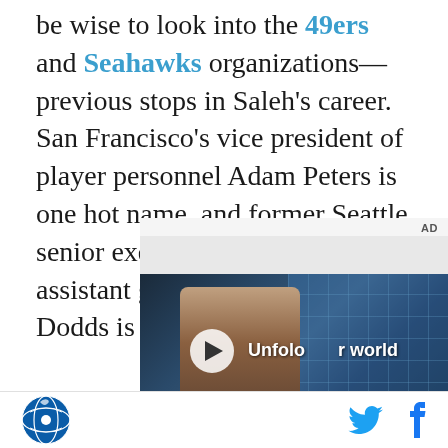be wise to look into the 49ers and Seahawks organizations—previous stops in Saleh's career. San Francisco's vice president of player personnel Adam Peters is one hot name, and former Seattle senior executive (now Colts assistant general manager) Ed Dodds is another.
[Figure (other): Advertisement video player showing a person standing in front of a tiled glass building facade, with text 'Unfollow your world' and a play button overlay. AD label visible at top right.]
Site logo icon | Twitter icon | Facebook icon